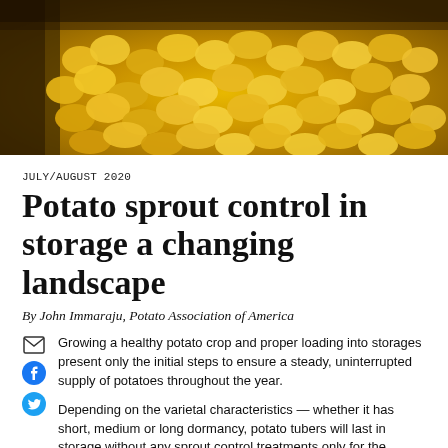[Figure (photo): Overhead view of large pile of yellow potatoes on a conveyor or in a storage facility, warm golden lighting]
JULY/AUGUST 2020
Potato sprout control in storage a changing landscape
By John Immaraju, Potato Association of America
Growing a healthy potato crop and proper loading into storages present only the initial steps to ensure a steady, uninterrupted supply of potatoes throughout the year.
Depending on the varietal characteristics — whether it has short, medium or long dormancy, potato tubers will last in storage without any sprout control treatments only for the duration of its dormancy period. For longer periods of storage